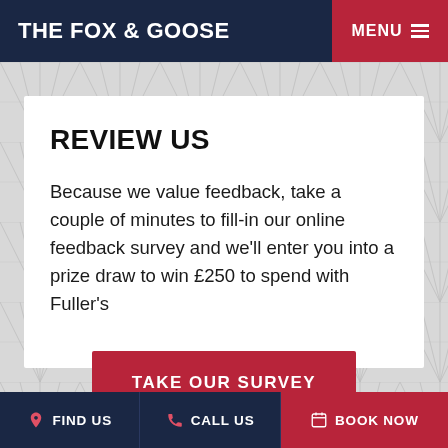THE FOX & GOOSE | MENU
REVIEW US
Because we value feedback, take a couple of minutes to fill-in our online feedback survey and we'll enter you into a prize draw to win £250 to spend with Fuller's
TAKE OUR SURVEY
FIND US | CALL US | BOOK NOW